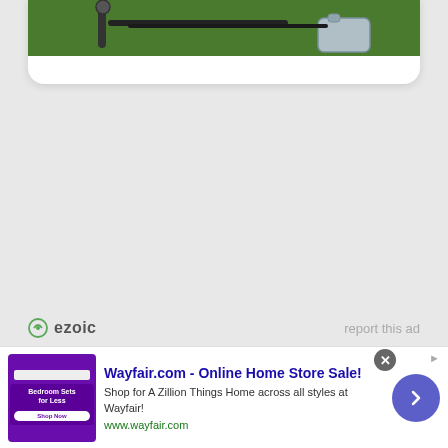[Figure (photo): Partial view of a product card showing outdoor equipment (sticks/poles and a bag/case) on green grass background, white card with rounded bottom corners]
ezoic   report this ad
[Figure (screenshot): Advertisement banner: Wayfair.com - Online Home Store Sale! Shop for A Zillion Things Home across all styles at Wayfair! www.wayfair.com. Shows a purple thumbnail with 'Bedroom Sets for Less' text, a navigation arrow button, and a close button.]